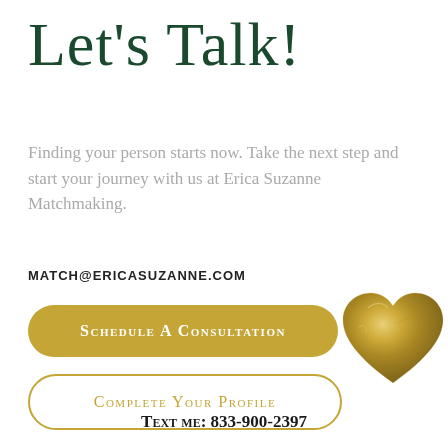Let's Talk!
Finding your person starts now. Take the next step and start your journey with us at Erica Suzanne Matchmaking.
MATCH@ERICASUZANNE.COM
[Figure (illustration): Gold foil heart shape decoration in the upper-right area of the button section]
Schedule A Consultation
Complete Your Profile
Text me: 833-900-2397